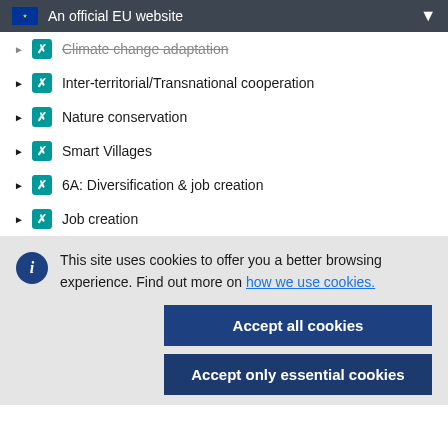An official EU website
Climate change adaptation
Inter-territorial/Transnational cooperation
Nature conservation
Smart Villages
6A: Diversification & job creation
Job creation
This site uses cookies to offer you a better browsing experience. Find out more on how we use cookies.